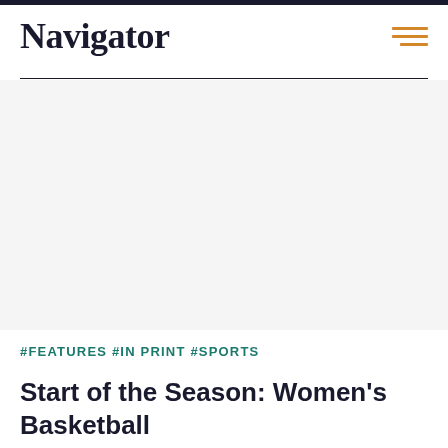Navigator
[Figure (photo): Large image placeholder area (white/light gray) taking up the central portion of the page]
#FEATURES #IN PRINT #SPORTS
Start of the Season: Women's Basketball